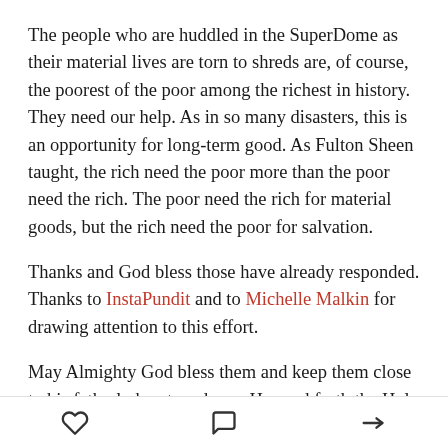The people who are huddled in the SuperDome as their material lives are torn to shreds are, of course, the poorest of the poor among the richest in history. They need our help. As in so many disasters, this is an opportunity for long-term good. As Fulton Sheen taught, the rich need the poor more than the poor need the rich. The poor need the rich for material goods, but the rich need the poor for salvation.
Thanks and God bless those have already responded. Thanks to InstaPundit and to Michelle Malkin for drawing attention to this effort.
May Almighty God bless them and keep them close to his fatherly heart, and may He send forth the Holy
[heart icon] [comment icon] [share icon]